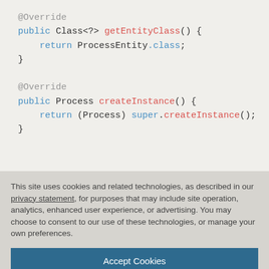@Override
public Class<?> getEntityClass() {
    return ProcessEntity.class;
}

@Override
public Process createInstance() {
    return (Process) super.createInstance();
}
This site uses cookies and related technologies, as described in our privacy statement, for purposes that may include site operation, analytics, enhanced user experience, or advertising. You may choose to consent to our use of these technologies, or manage your own preferences.
Accept Cookies
More Information
Privacy Policy | Powered by: TrustArc